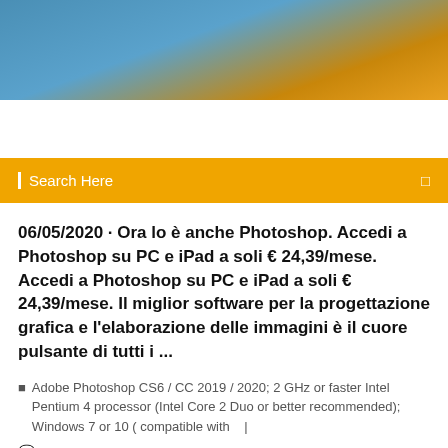[Figure (photo): Blue and yellow/orange gradient header banner image]
Search Here
06/05/2020 · Ora lo è anche Photoshop. Accedi a Photoshop su PC e iPad a soli € 24,39/mese. Accedi a Photoshop su PC e iPad a soli € 24,39/mese. Il miglior software per la progettazione grafica e l'elaborazione delle immagini è il cuore pulsante di tutti i ...
Adobe Photoshop CS6 / CC 2019 / 2020; 2 GHz or faster Intel Pentium 4 processor (Intel Core 2 Duo or better recommended); Windows 7 or 10 ( compatible with   |
10 Comments